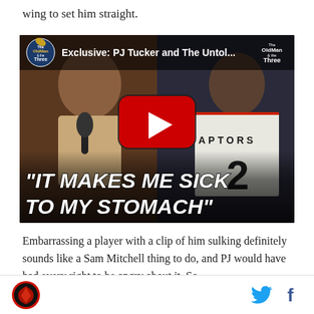wing to set him straight.
[Figure (screenshot): YouTube video thumbnail showing PJ Tucker being interviewed on the left and a Toronto Raptors player #2 on the right, with the quote 'IT MAKES ME SICK TO MY STOMACH' overlaid in large bold italic white text. The video title reads 'Exclusive: PJ Tucker and The Untol...' with The Old Man & the Three podcast logo.]
Embarrassing a player with a clip of him sulking definitely sounds like a Sam Mitchell thing to do, and PJ would have had every right to be angry about it. So